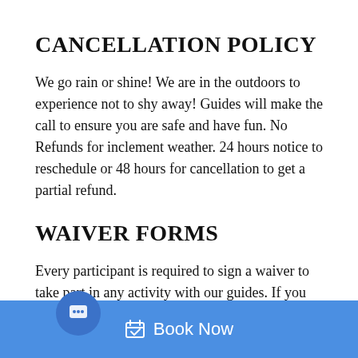CANCELLATION POLICY
We go rain or shine! We are in the outdoors to experience not to shy away! Guides will make the call to ensure you are safe and have fun. No Refunds for inclement weather. 24 hours notice to reschedule or 48 hours for cancellation to get a partial refund.
WAIVER FORMS
Every participant is required to sign a waiver to take part in any activity with our guides. If you have any sp[ecial requirements, please discuss with us] when you[…]